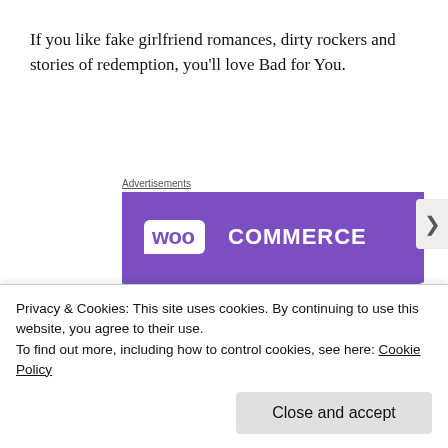If you like fake girlfriend romances, dirty rockers and stories of redemption, you’ll love Bad for You.
Advertisements
[Figure (infographic): WooCommerce advertisement banner. Purple diagonal background with WooCommerce logo (white WOO in bubble, white COMMERCE text). Teal triangle on left, blue arc on lower right. Text reads 'How to start selling subscriptions online' (partially visible).]
Privacy & Cookies: This site uses cookies. By continuing to use this website, you agree to their use.
To find out more, including how to control cookies, see here: Cookie Policy
Close and accept